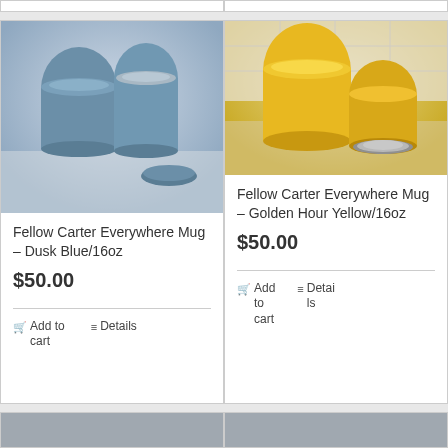[Figure (photo): Photo of Fellow Carter Everywhere Mug in Dusk Blue/16oz - two blue cylindrical mugs with one lid off, on marble surface]
Fellow Carter Everywhere Mug – Dusk Blue/16oz
$50.00
Add to cart
Details
[Figure (photo): Photo of Fellow Carter Everywhere Mug in Golden Hour Yellow/16oz - two yellow cylindrical mugs on surface]
Fellow Carter Everywhere Mug – Golden Hour Yellow/16oz
$50.00
Add to cart
Details